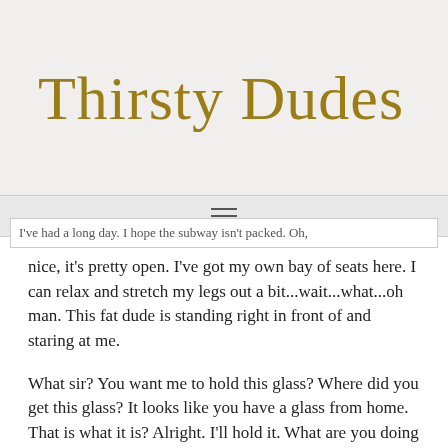[Figure (logo): Thirsty Dudes logo in gold cursive/script font on light grey background]
≡ I've had a long day. I hope the subway isn't packed. Oh,
nice, it's pretty open. I've got my own bay of seats here. I can relax and stretch my legs out a bit...wait...what...oh man. This fat dude is standing right in front of and staring at me.
What sir? You want me to hold this glass? Where did you get this glass? It looks like you have a glass from home. That is what it is? Alright. I'll hold it. What are you doing with that backpack? Oh, what are you doing with that old shirt? You're putting it over the glass that I'm holding. Why are you doing this? Oh, in the backpack again. You are peeling an orange. I still don't know what I have to do with...are you making fresh squeezed orange juice on the